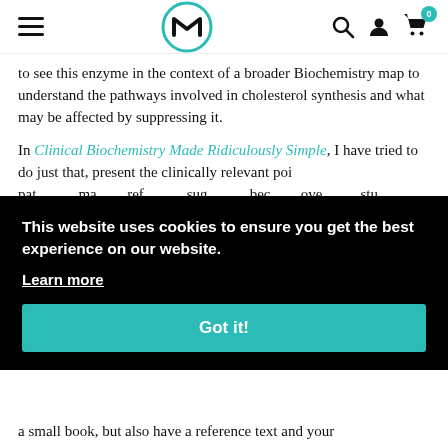Navigation bar with hamburger menu, MedMaster logo, search, account, and cart icons
to see this enzyme in the context of a broader Biochemistry map to understand the pathways involved in cholesterol synthesis and what may be affected by suppressing it.
In Clinical Biochemistry Made Ridiculously Simple, I have tried to do just that, present the clinically relevant poi... pat... ma... ref... sug... bec... ove... stu...
[Figure (screenshot): Cookie consent banner overlay on black background with text 'This website uses cookies to ensure you get the best experience on our website.', a 'Learn more' underlined link, and a teal 'Got it!' button.]
a small book, but also have a reference text and your